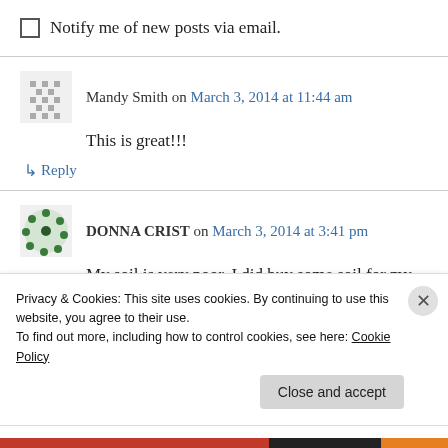Notify me of new posts via email.
Mandy Smith on March 3, 2014 at 11:44 am
This is great!!!
↳ Reply
DONNA CRIST on March 3, 2014 at 3:41 pm
My soil is very poor. I did buy some soil for my
Privacy & Cookies: This site uses cookies. By continuing to use this website, you agree to their use. To find out more, including how to control cookies, see here: Cookie Policy
Close and accept